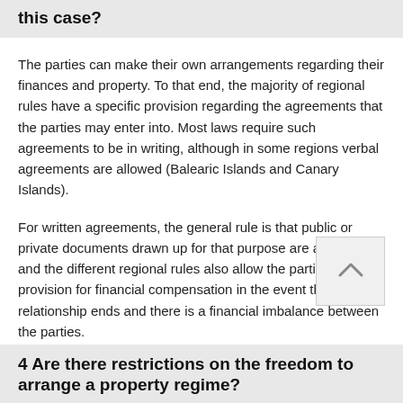this case?
The parties can make their own arrangements regarding their finances and property. To that end, the majority of regional rules have a specific provision regarding the agreements that the parties may enter into. Most laws require such agreements to be in writing, although in some regions verbal agreements are allowed (Balearic Islands and Canary Islands).
For written agreements, the general rule is that public or private documents drawn up for that purpose are acceptable, and the different regional rules also allow the parties to make provision for financial compensation in the event that the relationship ends and there is a financial imbalance between the parties.
In some regions, the agreement must be formalised by a notary. This is the case in Aragon, Cantabria, Catalonia, Extremadura, Galicia and Madrid.
4 Are there restrictions on the freedom to arrange a property regime?